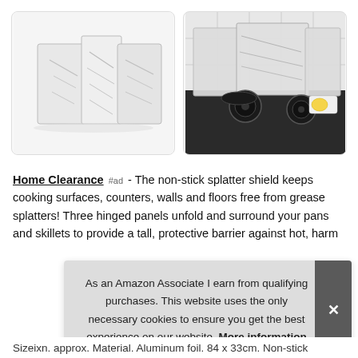[Figure (photo): Product photo of a folded aluminum foil splatter shield with leaf pattern, shown as a standalone item on white background]
[Figure (photo): Photo of the aluminum foil splatter shield in use on a gas stove with black marble countertop, white tile background]
Home Clearance #ad - The non-stick splatter shield keeps cooking surfaces, counters, walls and floors free from grease splatters! Three hinged panels unfold and surround your pans and skillets to provide a tall, protective barrier against hot, harm
As an Amazon Associate I earn from qualifying purchases. This website uses the only necessary cookies to ensure you get the best experience on our website. More information
Sizeixn. approx. Material. Aluminum foil. 84 x 33cm. Non-stick